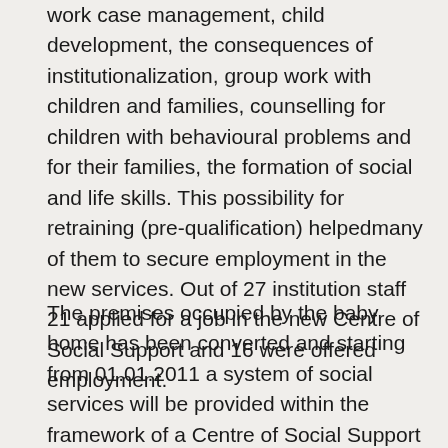work case management, child development, the consequences of institutionalization, group work with children and families, counselling for children with behavioural problems and for their families, the formation of social and life skills. This possibility for retraining (pre-qualification) helpedmany of them to secure employment in the new services. Out of 27 institution staff 21 applied for a job in the new Centre of Social Support and 16 were offered employment.
The premises occupied by the baby home has been converted and starting from 01.01.2011 a system of social services will be provided within the framework of a Centre of Social Support (CSS) for children at risk, from the age of 0 up to the age of 18 years by a team of 25 social workers, psychologists, teachers, nurses, rehabilitator and carers. The CSS will contain the following basic units: